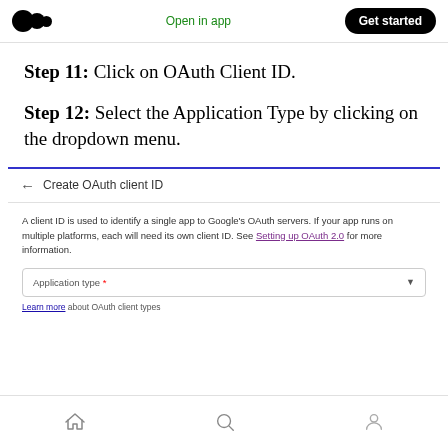Open in app | Get started
Step 11: Click on OAuth Client ID.
Step 12: Select the Application Type by clicking on the dropdown menu.
[Figure (screenshot): Screenshot of Google OAuth client ID creation page, showing a back arrow with 'Create OAuth client ID' heading, a description about client IDs and a link to 'Setting up OAuth 2.0', and a dropdown field labeled 'Application type *' with a 'Learn more' link about OAuth client types.]